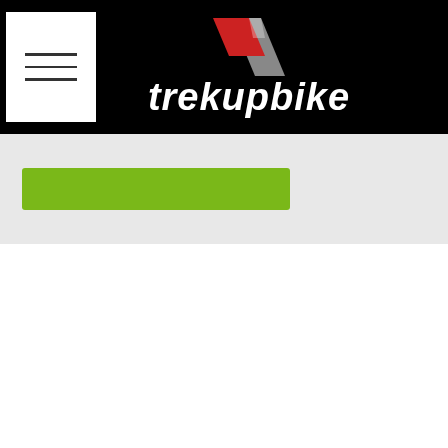[Figure (logo): Trekupbike logo with red/grey chevron icon and white italic bold text 'trekupbike' on black header bar]
[Figure (other): Green button/banner element on light grey background sub-bar below header]